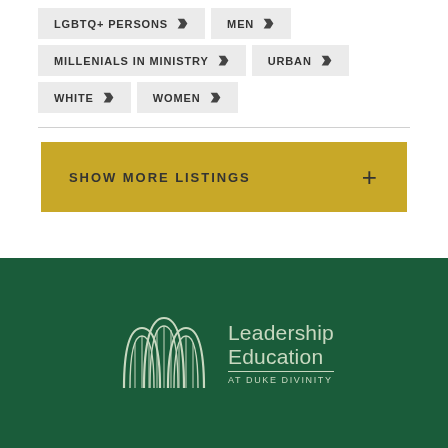LGBTQ+ PERSONS
MEN
MILLENIALS IN MINISTRY
URBAN
WHITE
WOMEN
SHOW MORE LISTINGS
[Figure (logo): Leadership Education at Duke Divinity logo — arched stained glass window graphic with text 'Leadership Education AT DUKE DIVINITY']